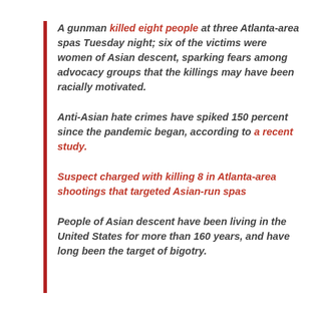A gunman killed eight people at three Atlanta-area spas Tuesday night; six of the victims were women of Asian descent, sparking fears among advocacy groups that the killings may have been racially motivated.
Anti-Asian hate crimes have spiked 150 percent since the pandemic began, according to a recent study.
Suspect charged with killing 8 in Atlanta-area shootings that targeted Asian-run spas
People of Asian descent have been living in the United States for more than 160 years, and have long been the target of bigotry.